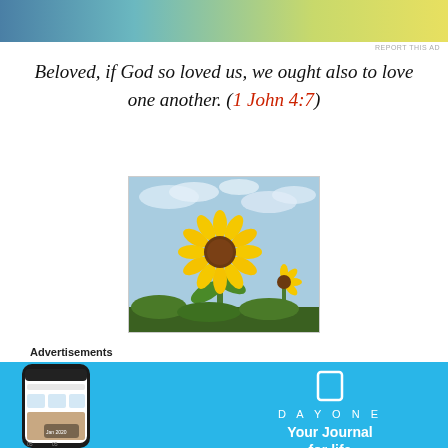[Figure (photo): Advertisement banner at top with gradient background (teal to yellow-green)]
REPORT THIS AD
Beloved, if God so loved us, we ought also to love one another. (1 John 4:7)
[Figure (photo): Photograph of a large sunflower in bloom against a blue cloudy sky, with smaller sunflowers visible in the background]
Advertisements
[Figure (photo): DayOne app advertisement with blue background, showing a phone mockup on the left and the DayOne logo with text 'Your Journal for life' on the right]